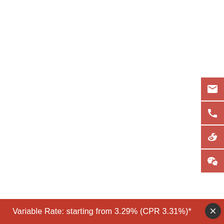[Figure (infographic): Vertical sidebar with four red icon buttons: email/envelope, phone, Weibo, WeChat — positioned on the right edge of the page.]
Variable Rate: starting from 3.29% (CPR 3.31%)*